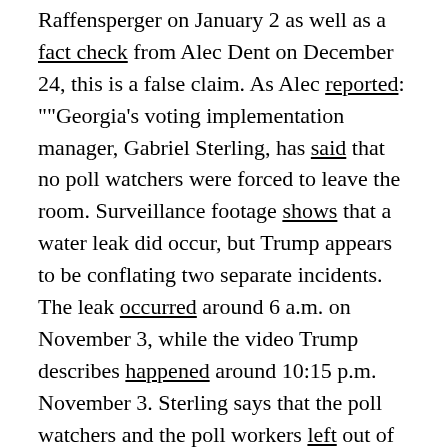Raffensperger on January 2 as well as a fact check from Alec Dent on December 24, this is a false claim. As Alec reported: ""Georgia's voting implementation manager, Gabriel Sterling, has said that no poll watchers were forced to leave the room. Surveillance footage shows that a water leak did occur, but Trump appears to be conflating two separate incidents. The leak occurred around 6 a.m. on November 3, while the video Trump describes happened around 10:15 p.m. November 3. Sterling says that the poll watchers and the poll workers left out of confusion over what time they were allowed to stop. The poll workers returned after being informed of their mistake, and the poll watchers returned about 80 minutes later."
Trump also cited Dominion Voting Systems as the source for much of this fraud. These various claims